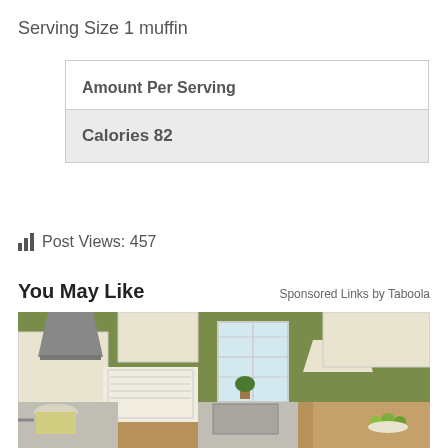Serving Size 1 muffin
| Amount Per Serving |
| Calories 82 |
Post Views: 457
You May Like
Sponsored Links by Taboola
[Figure (photo): Kitchen interior with olive green walls, cream/white cabinets, stainless steel range hood, pendant lights, wooden countertops, and a kitchen island with a bowl of green apples.]